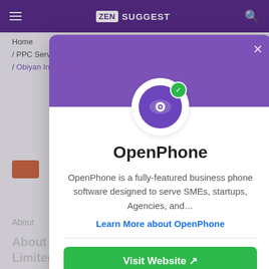ZEN SUGGEST
Home / PPC Services Providers / Obiyan Infotech Private Limited
[Figure (screenshot): Modal popup showing OpenPhone app listing on ZenSuggest website. Modal has purple header with OpenPhone logo (purple circle with eye icon) and green verified badge. Title: OpenPhone. Description: OpenPhone is a fully-featured business phone software designed to serve SMEs, startups, Agencies, and... Learn More about OpenPhone. Green Visit Website button.]
OpenPhone
OpenPhone is a fully-featured business phone software designed to serve SMEs, startups, Agencies, and…
Learn More about OpenPhone
Visit Website ↗
About Obiyan Infotech Private Limited